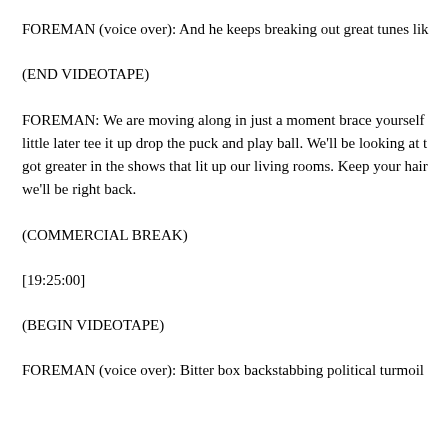FOREMAN (voice over): And he keeps breaking out great tunes lik
(END VIDEOTAPE)
FOREMAN: We are moving along in just a moment brace yourself little later tee it up drop the puck and play ball. We'll be looking at got greater in the shows that lit up our living rooms. Keep your hair we'll be right back.
(COMMERCIAL BREAK)
[19:25:00]
(BEGIN VIDEOTAPE)
FOREMAN (voice over): Bitter box backstabbing political turmoil